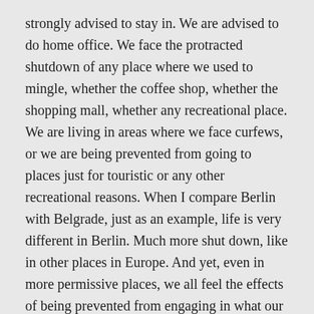strongly advised to stay in. We are advised to do home office. We face the protracted shutdown of any place where we used to mingle, whether the coffee shop, whether the shopping mall, whether any recreational place. We are living in areas where we face curfews, or we are being prevented from going to places just for touristic or any other recreational reasons. When I compare Berlin with Belgrade, just as an example, life is very different in Berlin. Much more shut down, like in other places in Europe. And yet, even in more permissive places, we all feel the effects of being prevented from engaging in what our brains need: Human contact, not over Zoom, but real contact.
We all know this, I am just stating it here to make my argument. We all feel that we began fighting this pandemic by being told that this will b...